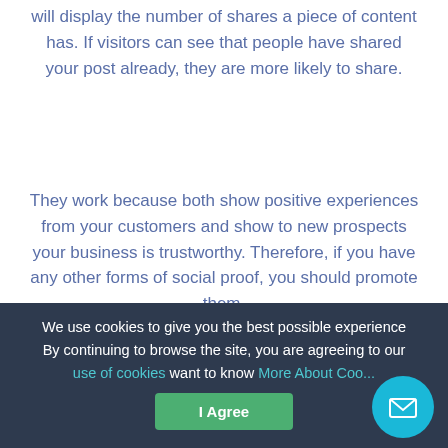will display the number of shares a piece of content has. If visitors can see that people have shared your post already, they are more likely to share.
They work because both show positive experiences from your customers and show to new prospects your business is trustworthy. Therefore, if you have any other forms of social proof, you should promote them.
2. The Decoy Effect
The decoy effect is a psychological occurrence that
We use cookies to give you the best possible experience
By continuing to browse the site, you are agreeing to our
use of cookies want to know More About Cookies
I Agree